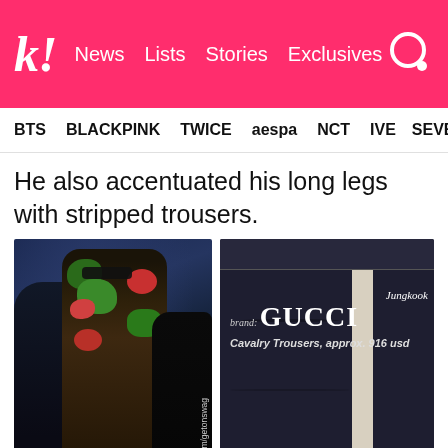k! News  Lists  Stories  Exclusives
BTS  BLACKPINK  TWICE  aespa  NCT  IVE  SEVE
He also accentuated his long legs with stripped trousers.
[Figure (photo): Photo of BTS members at an event, with twitter.com/getonswag watermark]
[Figure (photo): Gucci Cavalry Trousers product photo with overlay text: Jungkook, brand: GUCCI, Cavalry Trousers, approx. 916 usd]